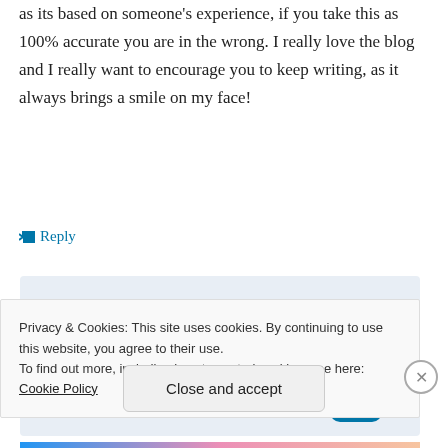as its based on someone's experience, if you take this as 100% accurate you are in the wrong. I really love the blog and I really want to encourage you to keep writing, as it always brings a smile on my face!
↳ Reply
[Figure (screenshot): WordPress 'the go.' app advertisement banner with GET THE APP text and WordPress logo]
Privacy & Cookies: This site uses cookies. By continuing to use this website, you agree to their use.
To find out more, including how to control cookies, see here: Cookie Policy
Close and accept